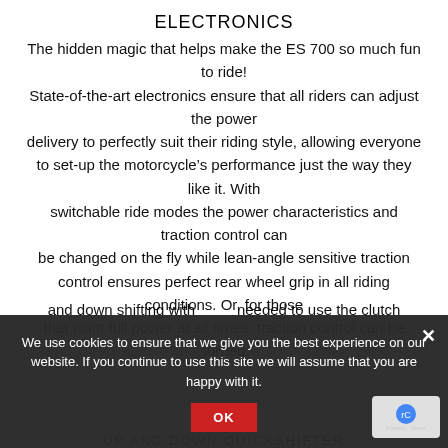ELECTRONICS
The hidden magic that helps make the ES 700 so much fun to ride! State-of-the-art electronics ensure that all riders can adjust the power delivery to perfectly suit their riding style, allowing everyone to set-up the motorcycle’s performance just the way they like it. With switchable ride modes the power characteristics and traction control can be changed on the fly while lean-angle sensitive traction control ensures perfect rear wheel grip in all riding conditions. Or, for those that want full power at all times, traction control can be turned off.
and down shifting with no need to use the clutch
UP AND DOWN QUICKSHIFTER
We use cookies to ensure that we give you the best experience on our website. If you continue to use this site we will assume that you are happy with it.
OK